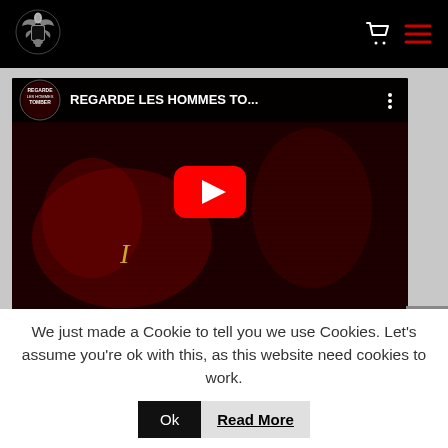[Figure (logo): White ornate crest/coat of arms logo on black header background]
[Figure (screenshot): YouTube video embed showing 'REGARDE LES HOMMES TO...' with red-toned album art thumbnail featuring a crouching figure, YouTube play button in center, video title bar at top with small album artwork circle logo]
We just made a Cookie to tell you we use Cookies. Let's assume you're ok with this, as this website need cookies to work.
Ok
Read More